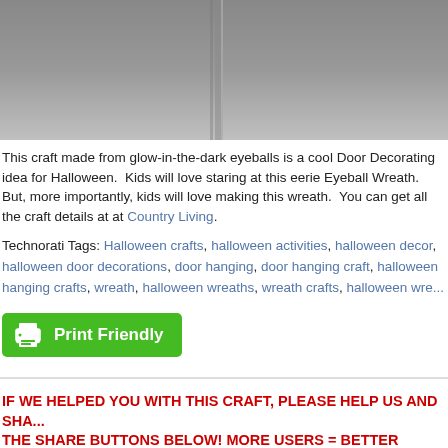[Figure (photo): Top portion of a gray door or wall photo, cropped]
This craft made from glow-in-the-dark eyeballs is a cool Door Decorating idea for Halloween. Kids will love staring at this eerie Eyeball Wreath. But, more importantly, kids will love making this wreath. You can get all the craft details at at Country Living.
Technorati Tags: Halloween crafts, halloween activities, halloween decor, halloween door decorations, door hanging, door hanging craft, halloween hanging crafts, wreath, halloween wreaths, wreath crafts, halloween wre...
[Figure (other): Print Friendly green button with printer icon]
IF WE HELPED YOU WITH THIS CRAFT, PLEASE HELP US AND SHA... THE SHARE BUTTONS BELOW! MORE USERS = BETTER SITE!!!